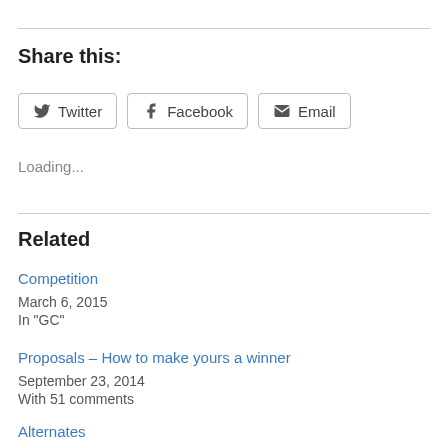Share this:
Twitter  Facebook  Email
Loading...
Related
Competition
March 6, 2015
In "GC"
Proposals – How to make yours a winner
September 23, 2014
With 51 comments
Alternates